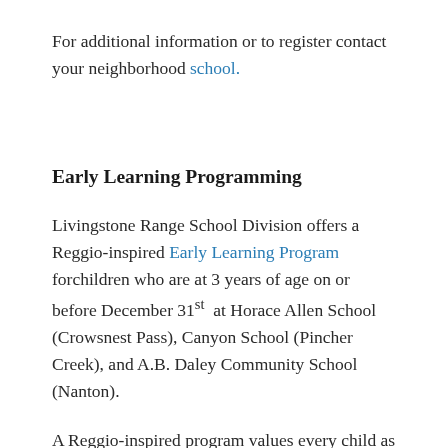For additional information or to register contact your neighborhood school.
Early Learning Programming
Livingstone Range School Division offers a Reggio-inspired Early Learning Program forchildren who are at 3 years of age on or before December 31st at Horace Allen School (Crowsnest Pass), Canyon School (Pincher Creek), and A.B. Daley Community School (Nanton).
A Reggio-inspired program values every child as a strong, capable learner with an innate curiosity to understand their world. Children engage in play